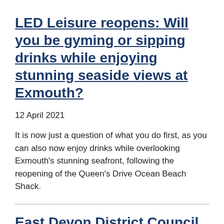LED Leisure reopens: Will you be gyming or sipping drinks while enjoying stunning seaside views at Exmouth?
12 April 2021
It is now just a question of what you do first, as you can also now enjoy drinks while overlooking Exmouth's stunning seafront, following the reopening of the Queen's Drive Ocean Beach Shack.
East Devon District Council Chair Cathy Gardner pays respect to